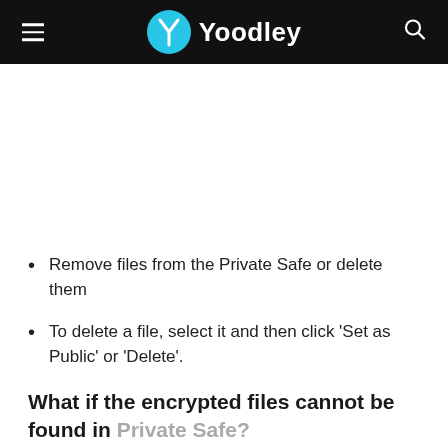Yoodley
Remove files from the Private Safe or delete them
To delete a file, select it and then click 'Set as Public' or 'Delete'.
What if the encrypted files cannot be found in Private Safe?
Verify if the file is still in its original source location...